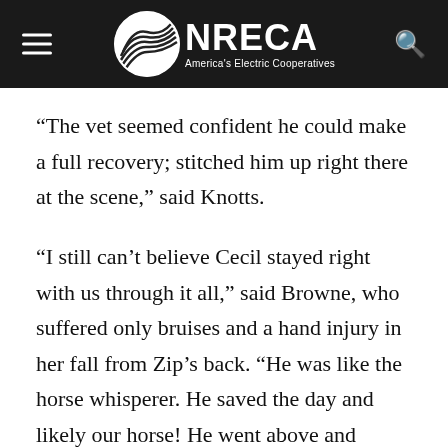NRECA — America's Electric Cooperatives
“The vet seemed confident he could make a full recovery; stitched him up right there at the scene,” said Knotts.
“I still can’t believe Cecil stayed right with us through it all,” said Browne, who suffered only bruises and a hand injury in her fall from Zip’s back. “He was like the horse whisperer. He saved the day and likely our horse! He went above and beyond the call of duty.”